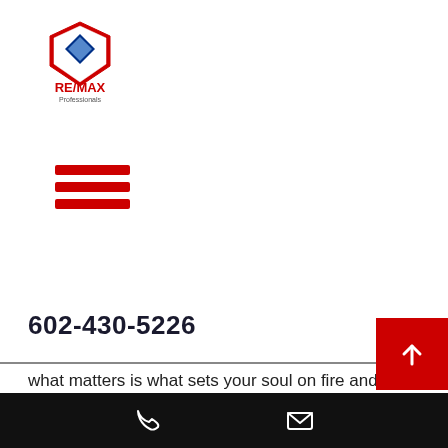[Figure (logo): RE/MAX Professionals logo with balloon icon and text]
[Figure (other): Hamburger menu icon with three red horizontal bars]
602-430-5226
what matters is what sets your soul on fire and drives you to be the best human being you can be. You can do it. I believe in you. Let’s make it a great week!
PS if you haven’t read or listened to the book Greenlights, I would highly recommend it!
[Figure (other): Red scroll-to-top button with upward arrow]
[Figure (other): Black bottom navigation bar with phone and email icons]